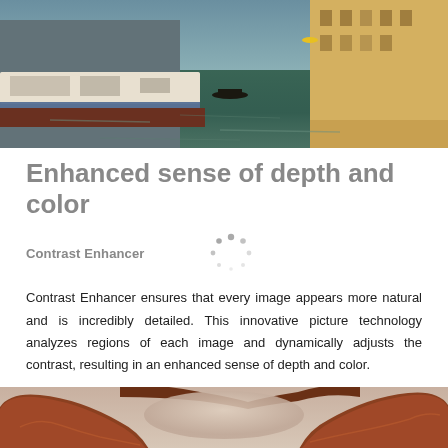[Figure (photo): Aerial/elevated view of Venice canal with boats, gondolas, and colorful buildings along the waterway]
Enhanced sense of depth and color
Contrast Enhancer
Contrast Enhancer ensures that every image appears more natural and is incredibly detailed. This innovative picture technology analyzes regions of each image and dynamically adjusts the contrast, resulting in an enhanced sense of depth and color.
[Figure (photo): Rock arch formation with warm orange/red tones against a sky, viewed from below looking through the arch]